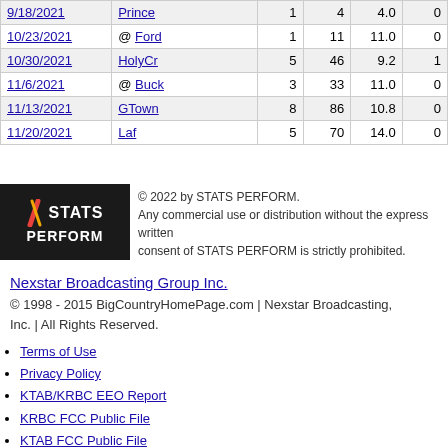| 9/18/2021 | Prince | 1 | 4 | 4.0 | 0 |
| 10/23/2021 | @ Ford | 1 | 11 | 11.0 | 0 |
| 10/30/2021 | HolyCr | 5 | 46 | 9.2 | 1 |
| 11/6/2021 | @ Buck | 3 | 33 | 11.0 | 0 |
| 11/13/2021 | GTown | 8 | 86 | 10.8 | 0 |
| 11/20/2021 | Laf | 5 | 70 | 14.0 | 0 |
[Figure (logo): STATS PERFORM logo - black background with colored slash marks and white text]
© 2022 by STATS PERFORM. Any commercial use or distribution without the express written consent of STATS PERFORM is strictly prohibited.
Nexstar Broadcasting Group Inc.
© 1998 - 2015 BigCountryHomePage.com | Nexstar Broadcasting, Inc. | All Rights Reserved.
Terms of Use
Privacy Policy
KTAB/KRBC EEO Report
KRBC FCC Public File
KTAB FCC Public File
Nexstar CC Certification